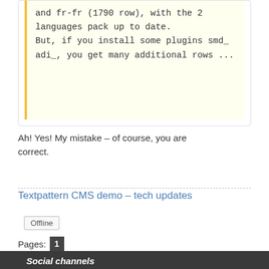and fr-fr (1790 row), with the 2 languages pack up to date. But, if you install some plugins smd_ adi_, you get many additional rows ...
Ah! Yes! My mistake – of course, you are correct.
Textpattern CMS demo – tech updates
Offline
Pages: 1
Index» Troubleshooting» Error on Webfaction
Social channels